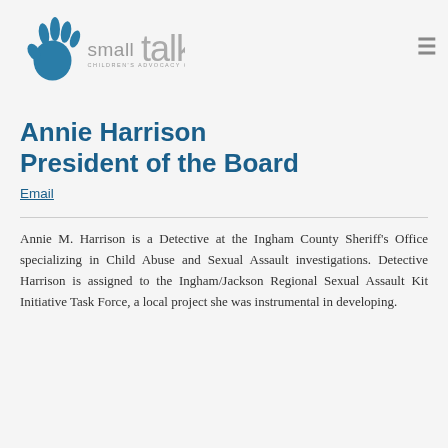[Figure (logo): Small Talk Children's Advocacy Center logo with stylized blue handprint and text]
Annie Harrison
President of the Board
Email
Annie M. Harrison is a Detective at the Ingham County Sheriff's Office specializing in Child Abuse and Sexual Assault investigations. Detective Harrison is assigned to the Ingham/Jackson Regional Sexual Assault Kit Initiative Task Force, a local project she was instrumental in developing.